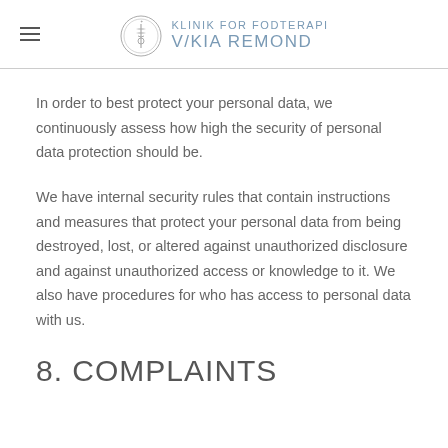KLINIK for FODTERAPI v/KIA REMOND
In order to best protect your personal data, we continuously assess how high the security of personal data protection should be.
We have internal security rules that contain instructions and measures that protect your personal data from being destroyed, lost, or altered against unauthorized disclosure and against unauthorized access or knowledge to it. We also have procedures for who has access to personal data with us.
8. COMPLAINTS